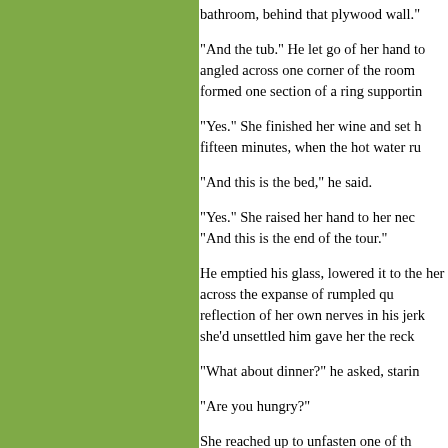bathroom, behind that plywood wall."
"And the tub." He let go of her hand to angled across one corner of the room formed one section of a ring supportin
"Yes." She finished her wine and set h fifteen minutes, when the hot water ru
"And this is the bed," he said.
"Yes." She raised her hand to her nec "And this is the end of the tour."
He emptied his glass, lowered it to the her across the expanse of rumpled qu reflection of her own nerves in his jerk she'd unsettled him gave her the reck
"What about dinner?" he asked, starin
"Are you hungry?"
She reached up to unfasten one of th
"Stop," he said. "Just... stop."